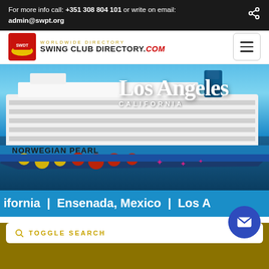For more info call: +351 308 804 101 or write on email: admin@swpt.org
[Figure (logo): Swing Club Directory worldwide directory logo with red SWDT icon]
[Figure (photo): Norwegian Pearl cruise ship at sea with Los Angeles California text overlay]
ifornia | Ensenada, Mexico | Los A
TOGGLE SEARCH